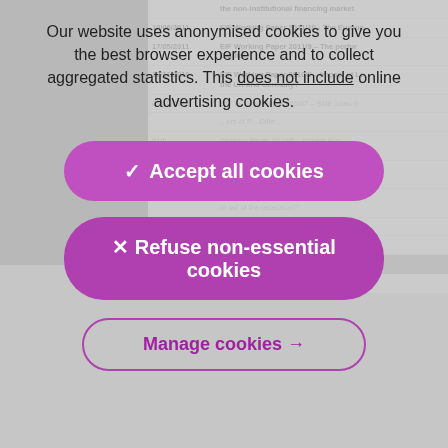Our website uses anonymised cookies to give you the best browser experience and to collect aggregated statistics. This does not include online advertising cookies.
✓ Accept all cookies
× Refuse non-essential cookies
Manage cookies →
| Date | Title |
| --- | --- |
| 10/06/2011 | EIF Working Paper 2011/10 - The Europe... |
| 17/05/2011 | EIF Working Paper 2011/9 – The perfor... Capital |
| 12/11/2010 | EIF Working Paper 2010/8 – Impact of Le... the UK and Germany? |
| 07/10/2010 | EIF Working Paper 2010/7 – SME Loan S... |
| 29/04/2010 | EIF Working Paper 2010/4 – Private Equ... or EU-27 Private Equity and Venture Cap... |
| 24/02/2010 | EIF Working Paper 2010/3 - The Private E... or tail of the recession?" |
| 10/12/2009 | EIF Working Paper 2009/2 - Financing To... |
| 22/01/2009 | EIF Working Paper 2009/1 - Microfinance... |